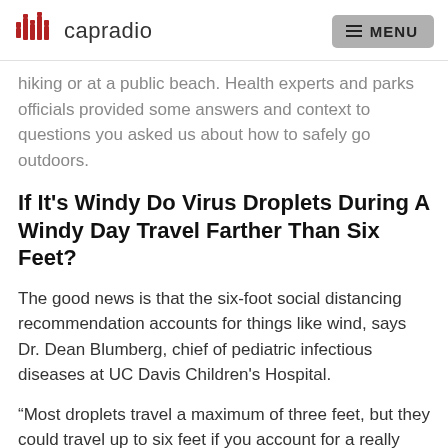capradio  MENU
hiking or at a public beach. Health experts and parks officials provided some answers and context to questions you asked us about how to safely go outdoors.
If It's Windy Do Virus Droplets During A Windy Day Travel Farther Than Six Feet?
The good news is that the six-foot social distancing recommendation accounts for things like wind, says Dr. Dean Blumberg, chief of pediatric infectious diseases at UC Davis Children's Hospital.
“Most droplets travel a maximum of three feet, but they could travel up to six feet if you account for a really forceful cough or sneeze, or windy